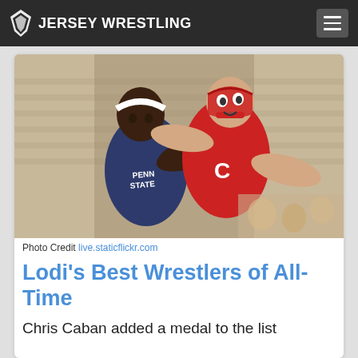JERSEY WRESTLING
[Figure (photo): Two collegiate wrestlers competing. One in navy Penn State singlet with a white headband, the other in red singlet with a 'C' logo and red headgear. Wrestling match action shot.]
Photo Credit live.staticflickr.com
Lodi's Best Wrestlers of All-Time
Chris Caban added a medal to the list